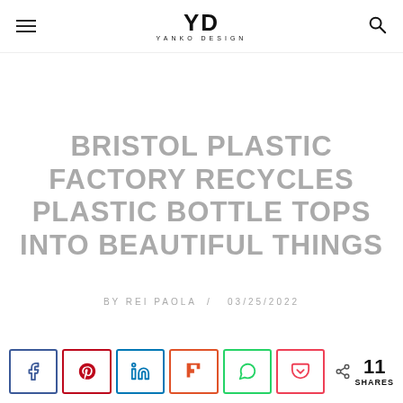YD YANKO DESIGN
BRISTOL PLASTIC FACTORY RECYCLES PLASTIC BOTTLE TOPS INTO BEAUTIFUL THINGS
BY REI PAOLA / 03/25/2022
11 SHARES